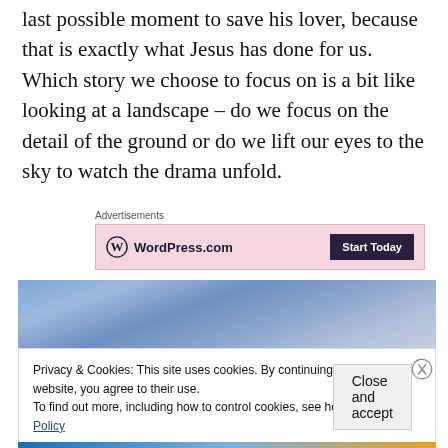last possible moment to save his lover, because that is exactly what Jesus has done for us.  Which story we choose to focus on is a bit like looking at a landscape – do we focus on the detail of the ground or do we lift our eyes to the sky to watch the drama unfold.
Advertisements
[Figure (screenshot): WordPress.com advertisement banner with pink background, WordPress logo, and 'Start Today' dark button]
[Figure (photo): Sky with blue and grey clouds]
Privacy & Cookies: This site uses cookies. By continuing to use this website, you agree to their use.
To find out more, including how to control cookies, see here: Cookie Policy
Close and accept